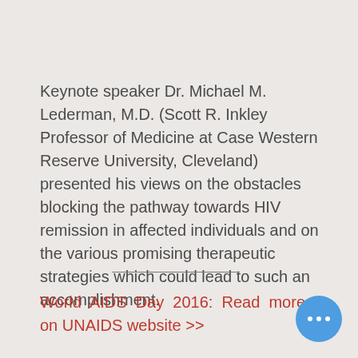Keynote speaker Dr. Michael M. Lederman, M.D. (Scott R. Inkley Professor of Medicine at Case Western Reserve University, Cleveland) presented his views on the obstacles blocking the pathway towards HIV remission in affected individuals and on the various promising therapeutic strategies which could lead to such an accomplishment.
World AIDS Day 2016: Read more on UNAIDS website >>